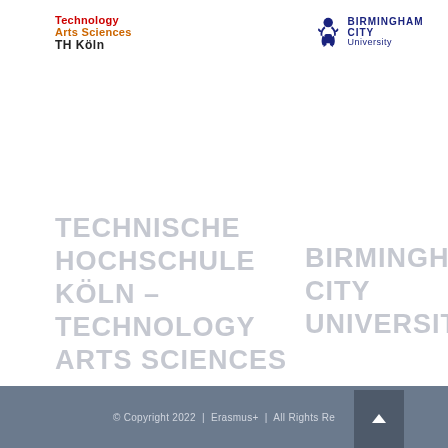[Figure (logo): TH Köln logo with Technology Arts Sciences text in red, orange and black]
[Figure (logo): Birmingham City University logo with lion emblem and text in dark navy blue]
TECHNISCHE HOCHSCHULE KÖLN – TECHNOLOGY ARTS SCIENCES
BIRMINGHAM CITY UNIVERSITY
© Copyright 2022  |  Erasmus+  |  All Rights Re...